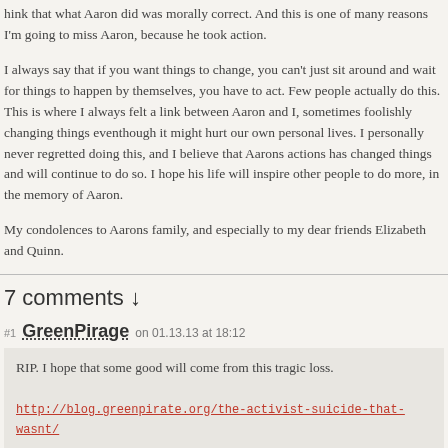hink that what Aaron did was morally correct. And this is one of many reasons I'm going to miss Aaron, because he took action.
I always say that if you want things to change, you can't just sit around and wait for things to happen by themselves, you have to act. Few people actually do this. This is where I always felt a link between Aaron and I, sometimes foolishly changing things eventhough it might hurt our own personal lives. I personally never regretted doing this, and I believe that Aarons actions has changed things and will continue to do so. I hope his life will inspire other people to do more, in the memory of Aaron.
My condolences to Aarons family, and especially to my dear friends Elizabeth and Quinn.
7 comments ↓
#1 GreenPirage on 01.13.13 at 18:12
RIP. I hope that some good will come from this tragic loss.
http://blog.greenpirate.org/the-activist-suicide-that-wasnt/